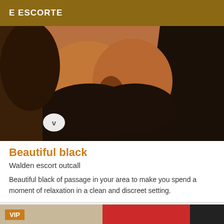E ESCORTE
[Figure (photo): Close-up photo of a woman in a black top, with a small letter 'v' watermark badge visible at the bottom left of the image.]
Beautiful black
Walden escort outcall
Beautiful black of passage in your area to make you spend a moment of relaxation in a clean and discreet setting.
[Figure (photo): Partial photo at the bottom of the page with a VIP badge in the top-left corner.]